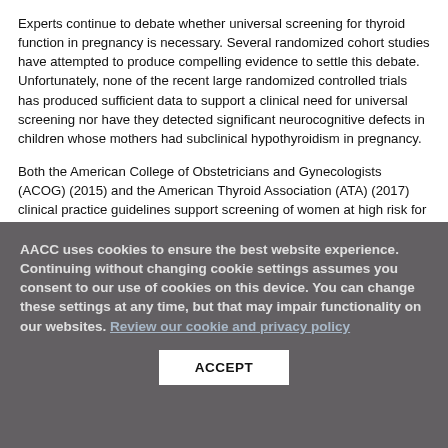Experts continue to debate whether universal screening for thyroid function in pregnancy is necessary. Several randomized cohort studies have attempted to produce compelling evidence to settle this debate. Unfortunately, none of the recent large randomized controlled trials has produced sufficient data to support a clinical need for universal screening nor have they detected significant neurocognitive defects in children whose mothers had subclinical hypothyroidism in pregnancy.
Both the American College of Obstetricians and Gynecologists (ACOG) (2015) and the American Thyroid Association (ATA) (2017) clinical practice guidelines support screening of women at high risk for thyroid dysfunction before they become pregnant, or early in pregnancy (1,2). The recent European Thyroid…
AACC uses cookies to ensure the best website experience. Continuing without changing cookie settings assumes you consent to our use of cookies on this device. You can change these settings at any time, but that may impair functionality on our websites. Review our cookie and privacy policy
ACCEPT